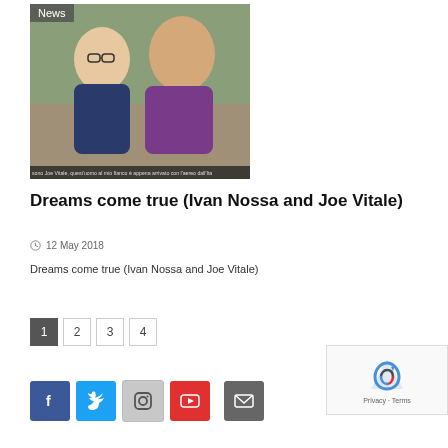[Figure (photo): Two men smiling outdoors, with subtitle text: 'sono Joe Vitale, quest'uomo al mio fianco è appena arrivato con l'aereo dall'Ita'. News badge in top-left corner.]
Dreams come true (Ivan Nossa and Joe Vitale)
12 May 2018
Dreams come true (Ivan Nossa and Joe Vitale)
1 2 3 4
[Figure (other): reCAPTCHA widget with Privacy - Terms text]